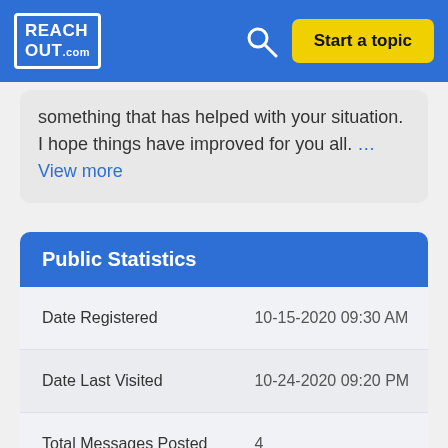REACHOUT.com | Search | Start a topic
something that has helped with your situation. I hope things have improved for you all. … View more
Public Statistics
| Field | Value |
| --- | --- |
| Date Registered | 10-15-2020 09:30 AM |
| Date Last Visited | 10-24-2020 09:20 PM |
| Total Messages Posted | 4 |